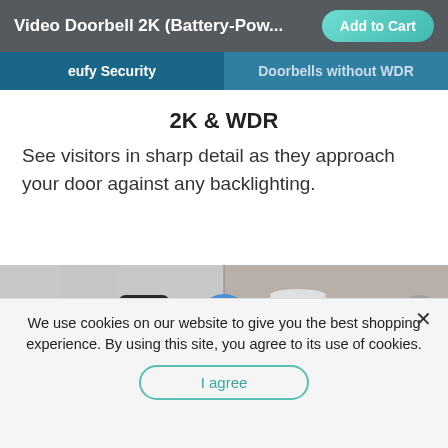Video Doorbell 2K (Battery-Pow...
[Figure (screenshot): Tab bar showing 'eufy Security' and 'Doorbells without WDR' tabs]
2K & WDR
See visitors in sharp detail as they approach your door against any backlighting.
[Figure (photo): Comparison image showing eufy security video doorbell (black device on wall) vs competitor doorbell without WDR (white device), with a blue circular battery-eco icon in the center]
We use cookies on our website to give you the best shopping experience. By using this site, you agree to its use of cookies.